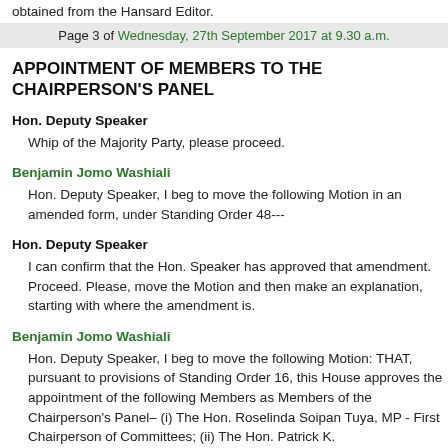obtained from the Hansard Editor.
Page 3 of Wednesday, 27th September 2017 at 9.30 a.m.
APPOINTMENT OF MEMBERS TO THE CHAIRPERSON'S PANEL
Hon. Deputy Speaker
Whip of the Majority Party, please proceed.
Benjamin Jomo Washiali
Hon. Deputy Speaker, I beg to move the following Motion in an amended form, under Standing Order 48---
Hon. Deputy Speaker
I can confirm that the Hon. Speaker has approved that amendment. Proceed. Please, move the Motion and then make an explanation, starting with where the amendment is.
Benjamin Jomo Washiali
Hon. Deputy Speaker, I beg to move the following Motion: THAT, pursuant to provisions of Standing Order 16, this House approves the appointment of the following Members as Members of the Chairperson's Panel– (i) The Hon. Roselinda Soipan Tuya, MP - First Chairperson of Committees; (ii) The Hon. Patrick K.